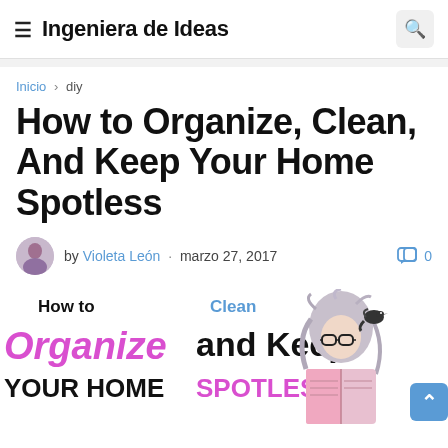≡ Ingeniera de Ideas
Inicio › diy
How to Organize, Clean, And Keep Your Home Spotless
by Violeta León · marzo 27, 2017 · 0 comments
[Figure (illustration): Featured image showing text 'How to Organize and Keep YOUR HOME SPOTLESS' with an illustration of a woman with glasses reading a book and a bird perched on her shoulder]